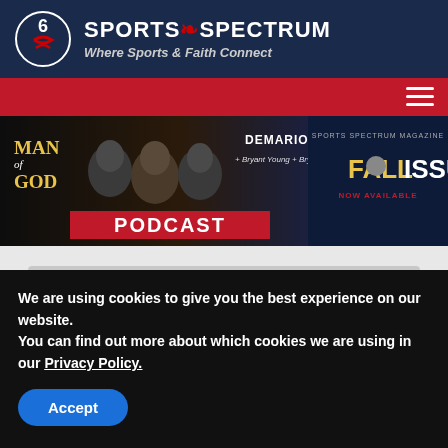[Figure (logo): Sports Spectrum logo: circular icon with stylized S and 6, beside text 'SPORTS SPECTRUM' and tagline 'Where Sports & Faith Connect']
[Figure (screenshot): Podcast banner image featuring 'Man of God' text, silhouette faces, 'DEMARIO DAVIS + Bryant Young + Bryce Song' text, PODCAST red band, and Sports Spectrum Magazine Fall Issue advertisement]
[Figure (screenshot): Libsyn audio player showing 'Bill Curry, 3-time NFL Champion, F...' with play button, progress bar at 00:00:00, and Libsyn logo]
We are using cookies to give you the best experience on our website.
You can find out more about which cookies we are using in our Privacy Policy.
Accept